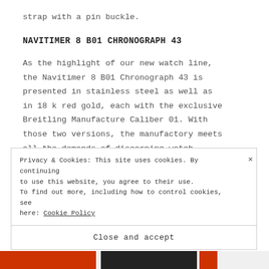strap with a pin buckle.
NAVITIMER 8 B01 CHRONOGRAPH 43
As the highlight of our new watch line, the Navitimer 8 B01 Chronograph 43 is presented in stainless steel as well as in 18 k red gold, each with the exclusive Breitling Manufacture Caliber 01. With those two versions, the manufactory meets all the demands of discerning watch
Privacy & Cookies: This site uses cookies. By continuing to use this website, you agree to their use. To find out more, including how to control cookies, see here: Cookie Policy
Close and accept